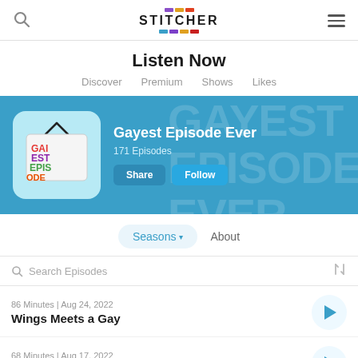Stitcher — Listen Now
Listen Now
Discover
Premium
Shows
Likes
[Figure (screenshot): Gayest Episode Ever podcast banner with artwork, show title, 171 Episodes, Share and Follow buttons on blue background]
Gayest Episode Ever
171 Episodes
Seasons ▾   About
Search Episodes
86 Minutes | Aug 24, 2022
Wings Meets a Gay
68 Minutes | Aug 17, 2022
Married With Children Lets Its Out Star Play Gay